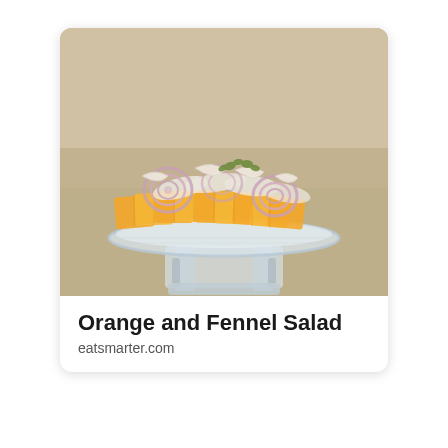[Figure (photo): A food photograph showing an orange and fennel salad arranged on a glass pedestal dish/cake stand. Orange slices are fanned out on the plate with thin fennel slices and red onion rings arranged on top, garnished with herbs. The background is a warm beige/tan color.]
Orange and Fennel Salad
eatsmarter.com